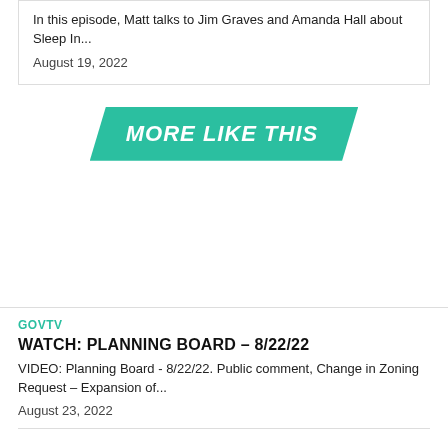In this episode, Matt talks to Jim Graves and Amanda Hall about Sleep In...
August 19, 2022
MORE LIKE THIS
GOVTV
WATCH: PLANNING BOARD – 8/22/22
VIDEO: Planning Board - 8/22/22. Public comment, Change in Zoning Request – Expansion of...
August 23, 2022